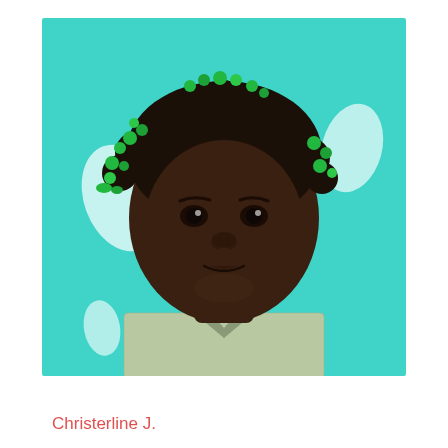[Figure (photo): Portrait photo of a young girl with black hair styled in multiple small ponytails decorated with green beads and hair accessories. She has a serious expression and is wearing a light green and white checkered school uniform shirt. The background is a bright turquoise/teal color with some white shapes visible.]
Christerline J.